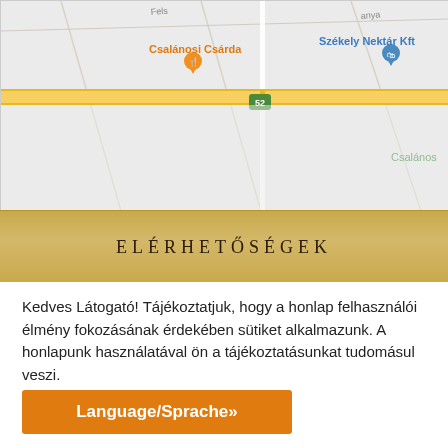[Figure (map): Google Maps screenshot showing a road map with 'Csalánosi Csárda' restaurant marker in orange, 'Székely Nektár Kft' business in blue, road number 52 marker, and 'Csalános' town label in green. Yellow road runs horizontally across the map.]
ELÉRHETŐSÉGEK
Kedves Látogató! Tájékoztatjuk, hogy a honlap felhasználói élmény fokozásának érdekében sütiket alkalmazunk. A honlapunk használatával ön a tájékoztatásunkat tudomásul veszi.
Beállítások
Elfogadom
Language/Sprache»